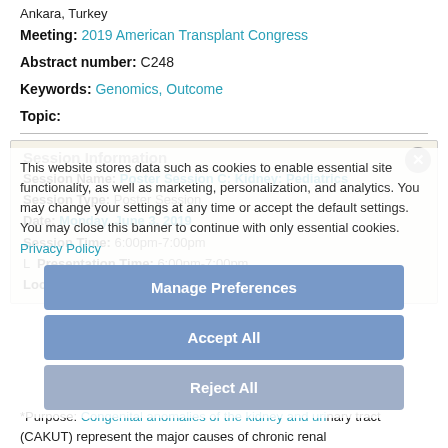Ankara, Turkey
Meeting: 2019 American Transplant Congress
Abstract number: C248
Keywords: Genomics, Outcome
Topic:
Session Information
Session Name: Poster Session C: Kidney: Pediatrics
Session Type: Poster Session
Date: Monday, June 3, 2019
Session Time: 6:00pm-7:00pm
L Presentation Time: 6:00pm-7:00pm
Location: Hall C & D
This website stores data such as cookies to enable essential site functionality, as well as marketing, personalization, and analytics. You may change your settings at any time or accept the default settings. You may close this banner to continue with only essential cookies. Privacy Policy
Manage Preferences
Accept All
Reject All
*Purpose: Congenital anomalies of the kidney and urinary tract (CAKUT) represent the major causes of chronic renal